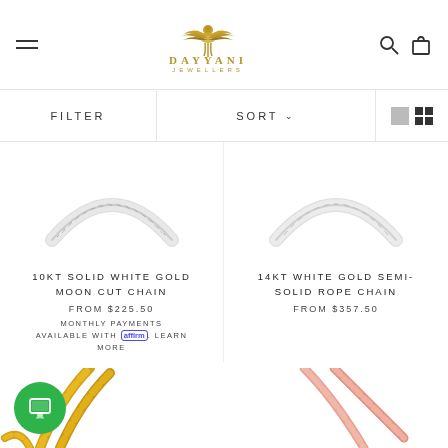Dayyani Jewellers
FILTER   SORT
[Figure (photo): 10KT Solid White Gold Moon Cut Chain jewelry product photo on white background]
10KT SOLID WHITE GOLD MOON CUT CHAIN
FROM $225.50 MONTHLY PAYMENTS AVAILABLE WITH affirm. LEARN MORE
[Figure (photo): 14KT White Gold Semi-Solid Rope Chain jewelry product photo on white background]
14KT WHITE GOLD SEMI-SOLID ROPE CHAIN
FROM $357.50
[Figure (photo): Gold chain jewelry product photo - bottom left]
[Figure (photo): Rose gold chain jewelry product photo - bottom right]